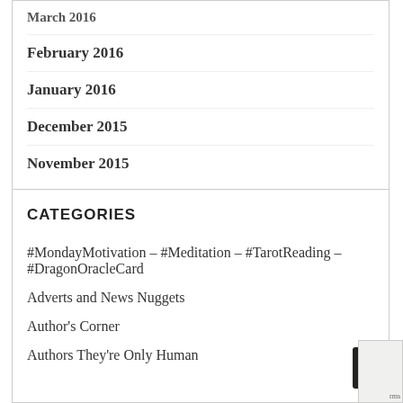March 2016
February 2016
January 2016
December 2015
November 2015
CATEGORIES
#MondayMotivation – #Meditation – #TarotReading – #DragonOracleCard
Adverts and News Nuggets
Author's Corner
Authors They're Only Human